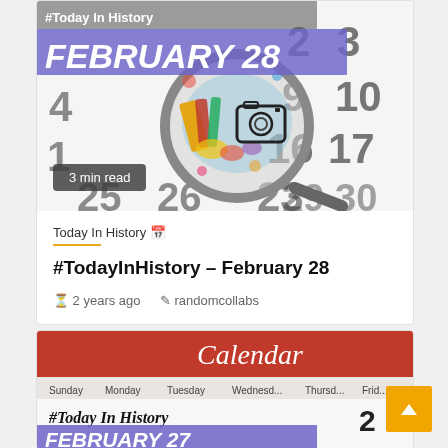[Figure (photo): Calendar photo with magnifying glass and colorful art icons, showing dates. Text overlay: #Today In History / FEBRUARY 28. Badge: 3 min read.]
Today In History 📅
#TodayInHistory – February 28
⏱ 2 years ago   ✏ randomcollabs
[Figure (photo): Calendar photo with red header 'Calendar', day column headers, and text overlay: #Today In History / FEBRUARY 27. Numbers 2 and 3 visible on right.]